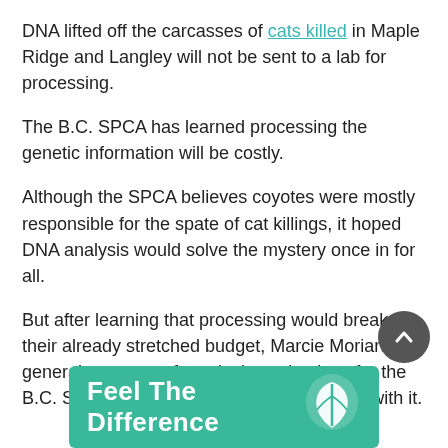DNA lifted off the carcasses of cats killed in Maple Ridge and Langley will not be sent to a lab for processing.
The B.C. SPCA has learned processing the genetic information will be costly.
Although the SPCA believes coyotes were mostly responsible for the spate of cat killings, it hoped DNA analysis would solve the mystery once in for all.
But after learning that processing would break their already stretched budget, Marcie Moriarty, general manager of cruelty investigations for the B.C. SPCA, said it decided not to go ahead with it.
[Figure (infographic): Green banner advertisement reading 'Feel The Difference' with a white leaf logo on the right side.]